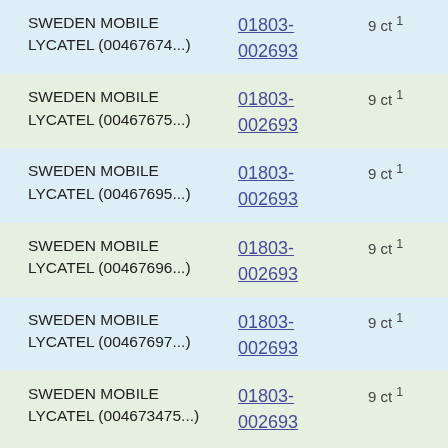| Destination | Number | Rate |
| --- | --- | --- |
| SWEDEN MOBILE LYCATEL (00467674...) | 01803-002693 | 9 ct ¹ |
| SWEDEN MOBILE LYCATEL (00467675...) | 01803-002693 | 9 ct ¹ |
| SWEDEN MOBILE LYCATEL (00467695...) | 01803-002693 | 9 ct ¹ |
| SWEDEN MOBILE LYCATEL (00467696...) | 01803-002693 | 9 ct ¹ |
| SWEDEN MOBILE LYCATEL (00467697...) | 01803-002693 | 9 ct ¹ |
| SWEDEN MOBILE LYCATEL (004673475...) | 01803-002693 | 9 ct ¹ |